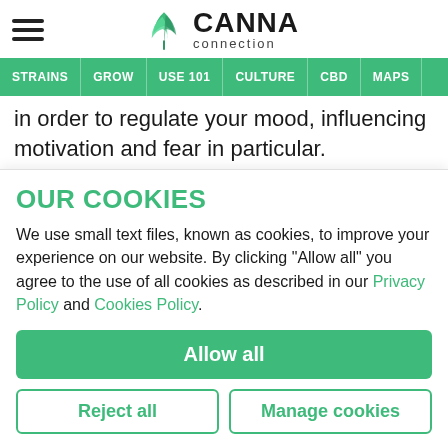CANNA connection
STRAINS | GROW | USE 101 | CULTURE | CBD | MAPS
in order to regulate your mood, influencing motivation and fear in particular.

While appropriate amounts of cortisol are fine, high levels caused by chronic stress can cause a lot of
OUR COOKIES
We use small text files, known as cookies, to improve your experience on our website. By clicking "Allow all" you agree to the use of all cookies as described in our Privacy Policy and Cookies Policy.
Allow all
Reject all
Manage cookies